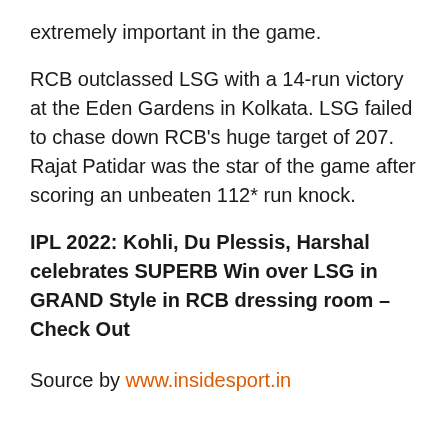extremely important in the game.
RCB outclassed LSG with a 14-run victory at the Eden Gardens in Kolkata. LSG failed to chase down RCB’s huge target of 207. Rajat Patidar was the star of the game after scoring an unbeaten 112* run knock.
IPL 2022: Kohli, Du Plessis, Harshal celebrates SUPERB Win over LSG in GRAND Style in RCB dressing room – Check Out
Source by www.insidesport.in